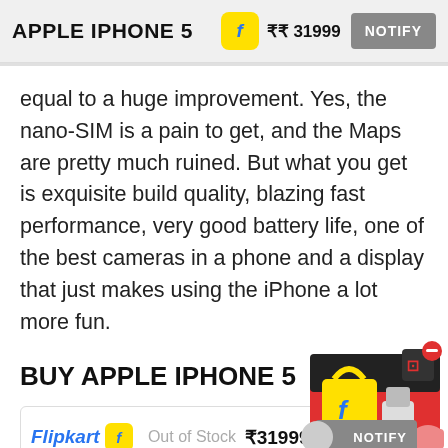APPLE IPHONE 5 ₹₹ 31999 NOTIFY
equal to a huge improvement. Yes, the nano-SIM is a pain to get, and the Maps are pretty much ruined. But what you get is exquisite build quality, blazing fast performance, very good battery life, one of the best cameras in a phone and a display that just makes using the iPhone a lot more fun.
BUY APPLE IPHONE 5
[Figure (illustration): Flipkart promotional box/package illustration with shopping bag, kitchen appliances, and red cube with minus icon]
| Store | Availability | Price | Action |
| --- | --- | --- | --- |
| Flipkart | Out of Stock | ₹31999 | NOTIFY |